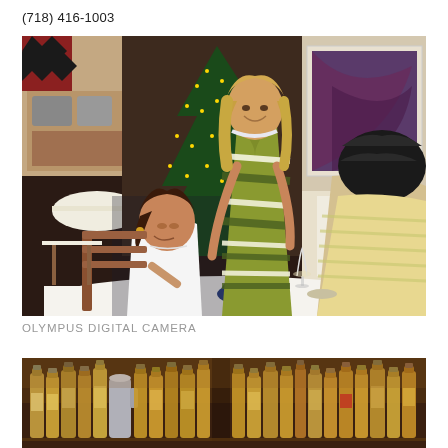(718) 416-1003
[Figure (photo): Three women in a restaurant setting. A woman in a white sleeveless dress is seated at a white tablecloth table holding a wine glass. A standing woman in a green and white striped dress is talking to her. A third woman with dark hair is seen from behind on the right. A decorated Christmas tree and restaurant interior are visible in the background.]
OLYMPUS DIGITAL CAMERA
[Figure (photo): A bar or shelf display showing numerous bottles of liquor and spirits lined up in rows, with warm amber lighting.]